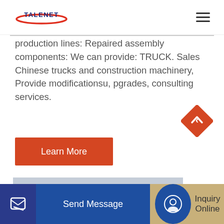TALENET
production lines: Repaired assembly components: We can provide: TRUCK. Sales Chinese trucks and construction machinery, Provide modificationsu, pgrades, consulting services.
Learn More
[Figure (photo): Red trucks (HOWO brand) parked in a lot, front view, overcast sky]
Send Message
Inquiry Online